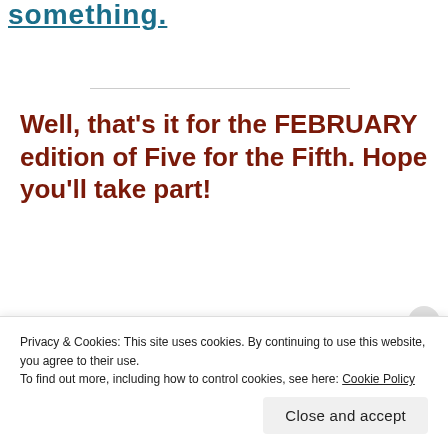something.
Well, that’s it for the FEBRUARY edition of Five for the Fifth. Hope you’ll take part!
Privacy & Cookies: This site uses cookies. By continuing to use this website, you agree to their use.
To find out more, including how to control cookies, see here: Cookie Policy
Close and accept